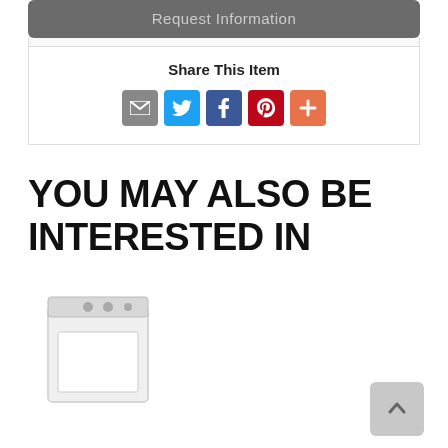[Figure (screenshot): Request Information button (gray rounded rectangle)]
Share This Item
[Figure (infographic): Social sharing icons: email (gray), Twitter (blue bird), Facebook (blue f), Pinterest (red P), More (orange plus)]
YOU MAY ALSO BE INTERESTED IN
[Figure (photo): White top-load washing machine or dryer appliance]